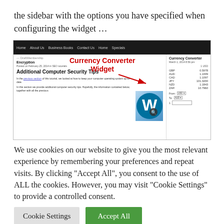the sidebar with the options you have specified when configuring the widget …
[Figure (screenshot): Screenshot of a WordPress website showing 'Additional Computer Security Tips' article with a Currency Converter Widget annotated in red text with an arrow pointing to the sidebar widget displaying GBP, AUD, CAD, JPY, NZD, ZAR conversion rates from USD.]
We use cookies on our website to give you the most relevant experience by remembering your preferences and repeat visits. By clicking "Accept All", you consent to the use of ALL the cookies. However, you may visit "Cookie Settings" to provide a controlled consent.
Cookie Settings
Accept All